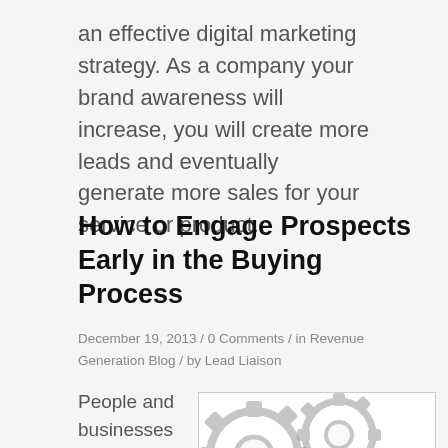an effective digital marketing strategy. As a company your brand awareness will increase, you will create more leads and eventually generate more sales for your service or product.
How to Engage Prospects Early in the Buying Process
December 19, 2013 / 0 Comments / in Revenue Generation Blog / by Lead Liaison
People and businesses are changing the way they
[Figure (illustration): An illustration showing two interlocking grey gear wheels with the word ENGAGE in large bold black text across them, and a chat bubble icon on the right side.]